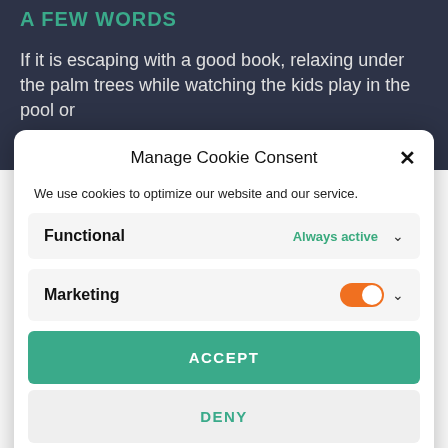A FEW WORDS
If it is escaping with a good book, relaxing under the palm trees while watching the kids play in the pool or
Manage Cookie Consent
We use cookies to optimize our website and our service.
Functional    Always active  ∨
Marketing  [toggle on]  ∨
ACCEPT
DENY
SAVE PREFERENCES